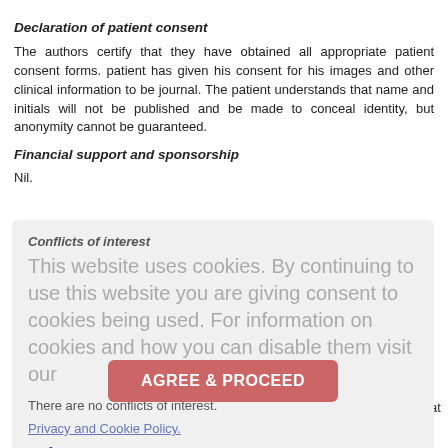Declaration of patient consent
The authors certify that they have obtained all appropriate patient consent forms. patient has given his consent for his images and other clinical information to be journal. The patient understands that name and initials will not be published and be made to conceal identity, but anonymity cannot be guaranteed.
Financial support and sponsorship
Nil.
Conflicts of interest
There are no conflicts of interest.
This website uses cookies. By continuing to use this website you are giving consent to cookies being used. For information on cookies and how you can disable them visit our
Privacy and Cookie Policy.
References
AGREE & PROCEED
1. Saud A, Naveen R, Aggarwal R, Gupta L. COVID-19 and myositis: What v Curr Rheumatol Rep 2021;23:63. ↑